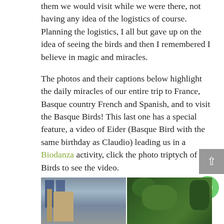them we would visit while we were there, not having any idea of the logistics of course. Planning the logistics, I all but gave up on the idea of seeing the birds and then I remembered I believe in magic and miracles.
The photos and their captions below highlight the daily miracles of our entire trip to France, Basque country French and Spanish, and to visit the Basque Birds! This last one has a special feature, a video of Eider (Basque Bird with the same birthday as Claudio) leading us in a Biodanza activity, click the photo triptych of the Birds to see the video.
[Figure (photo): Photo strip showing two images: left shows a person in a hat near blue shuttered windows, right shows green foliage/bushes]